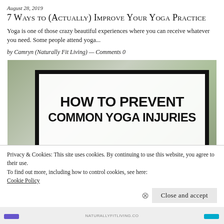August 28, 2019
7 Ways to (Actually) Improve Your Yoga Practice
Yoga is one of those crazy beautiful experiences where you can receive whatever you need. Some people attend yoga...
by Camryn (Naturally Fit Living) — Comments 0
[Figure (photo): Blog post featured image with text overlay on a white box bordered in black: 'HOW TO PREVENT COMMON YOGA INJURIES', set against a blurred nature/trees background.]
Privacy & Cookies: This site uses cookies. By continuing to use this website, you agree to their use.
To find out more, including how to control cookies, see here: Cookie Policy
Close and accept